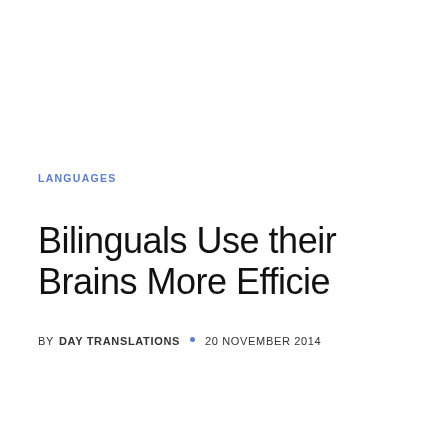LANGUAGES
Bilinguals Use their Brains More Efficie
BY DAY TRANSLATIONS · 20 NOVEMBER 2014